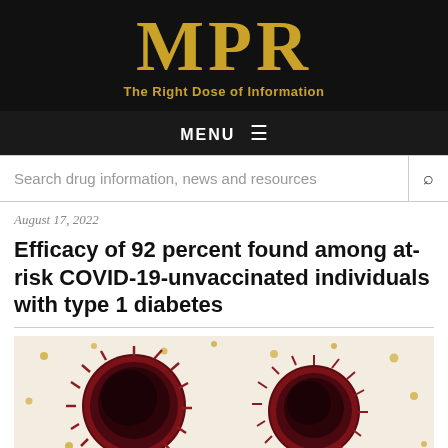MPR — The Right Dose of Information
MENU
Search drug information, news and resources
August 17, 2022
Efficacy of 92 percent found among at-risk COVID-19-unvaccinated individuals with type 1 diabetes
[Figure (photo): Microscopic image of COVID-19 coronavirus particles, dark red/maroon spherical virus particles with spikes visible against a light beige background with yellow-gold dots.]